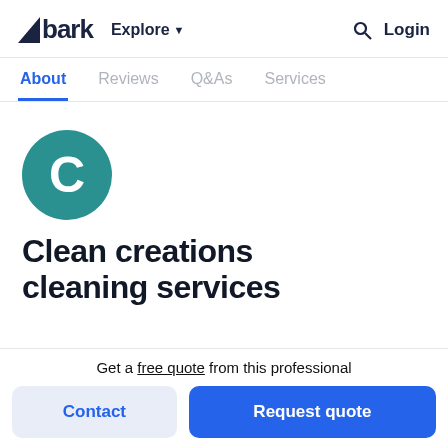bark  Explore  Login
About  Reviews  Q&As  Services
[Figure (illustration): Teal circle with white letter C — company avatar for Clean creations cleaning services]
Clean creations cleaning services
Get a free quote from this professional
Contact   Request quote